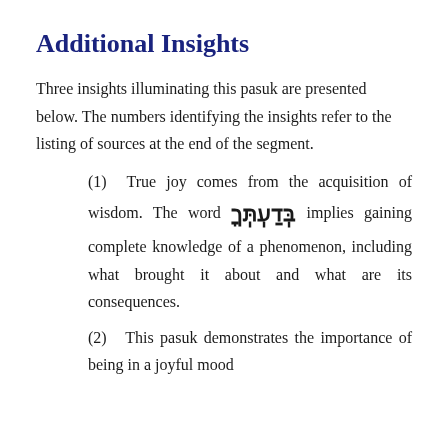Additional Insights
Three insights illuminating this pasuk are presented below. The numbers identifying the insights refer to the listing of sources at the end of the segment.
(1) True joy comes from the acquisition of wisdom. The word בְּדַעְתְּךָ implies gaining complete knowledge of a phenomenon, including what brought it about and what are its consequences.
(2) This pasuk demonstrates the importance of being in a joyful mood